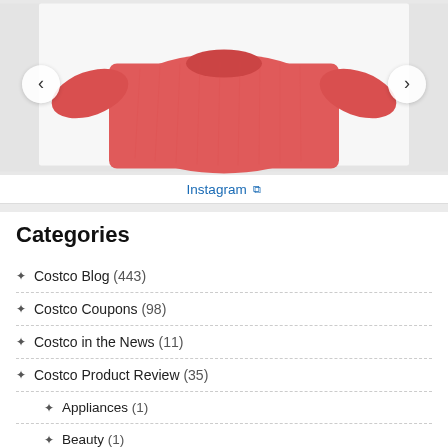[Figure (photo): Red/coral knit sweater on white background with left and right navigation arrows]
Instagram
Categories
Costco Blog (443)
Costco Coupons (98)
Costco in the News (11)
Costco Product Review (35)
Appliances (1)
Beauty (1)
Clothing, Luggage, Handbag (4)